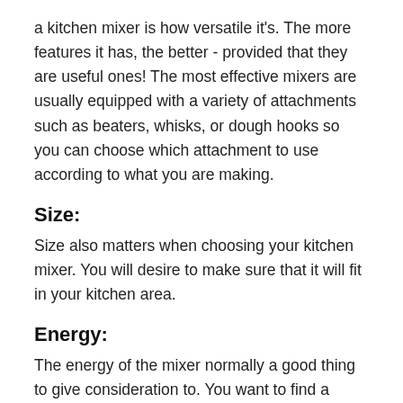a kitchen mixer is how versatile it's. The more features it has, the better - provided that they are useful ones! The most effective mixers are usually equipped with a variety of attachments such as beaters, whisks, or dough hooks so you can choose which attachment to use according to what you are making.
Size:
Size also matters when choosing your kitchen mixer. You will desire to make sure that it will fit in your kitchen area.
Energy:
The energy of the mixer normally a good thing to give consideration to. You want to find a mixer with